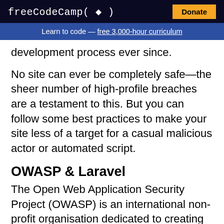freeCodeCamp(flame) Donate
Learn to code — free 3,000-hour curriculum
development process ever since.
No site can ever be completely safe— the sheer number of high-profile breaches are a testament to this. But you can follow some best practices to make your site less of a target for a casual malicious actor or automated script.
OWASP & Laravel
The Open Web Application Security Project (OWASP) is an international non-profit organisation dedicated to creating awareness